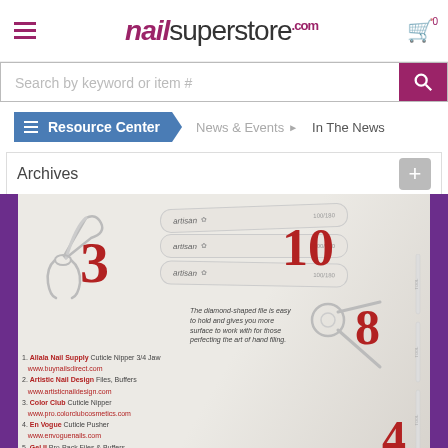nailsuperstore.com
Search by keyword or item #
Resource Center  News & Events  In The News
Archives
[Figure (photo): Magazine page showing nail tools including cuticle nippers, artisan nail files, and scissors with numbered callouts 3, 10, 8, 4 and a list of brands including Allala Nail Supply, Artistic Nail Design, Color Club, En Vogue, Gel II, KB Shimmer]